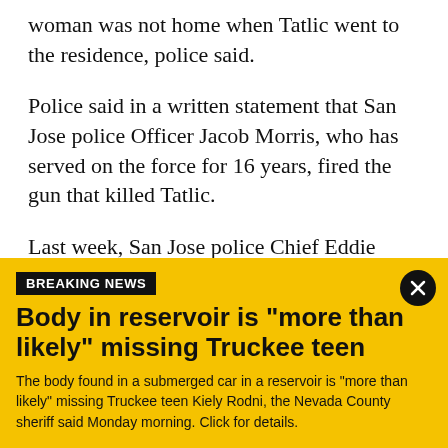woman was not home when Tatlic went to the residence, police said.
Police said in a written statement that San Jose police Officer Jacob Morris, who has served on the force for 16 years, fired the gun that killed Tatlic.
Last week, San Jose police Chief Eddie Garcia said the crime was heinous.
"It was just a horrible, horrible crime," Garcia said at a press conference. "A tragic incident perpetrated by
BREAKING NEWS
Body in reservoir is "more than likely" missing Truckee teen
The body found in a submerged car in a reservoir is "more than likely" missing Truckee teen Kiely Rodni, the Nevada County sheriff said Monday morning. Click for details.